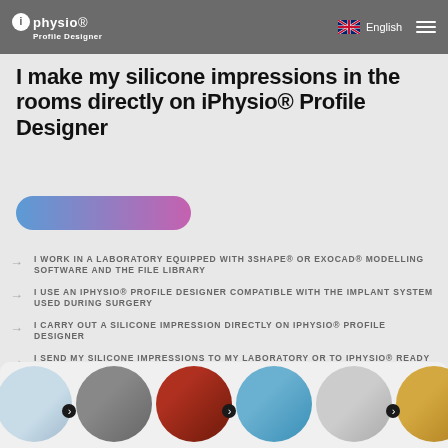iPhysio Profile Designer — English
I make my silicone impressions in the rooms directly on iPhysio® Profile Designer
[Figure (other): Gradient pill-shaped button, blue to pink/purple gradient]
I WORK IN A LABORATORY EQUIPPED WITH 3SHAPE® OR EXOCAD® MODELLING SOFTWARE AND THE FILE LIBRARY
I USE AN IPHYSIO® PROFILE DESIGNER COMPATIBLE WITH THE IMPLANT SYSTEM USED DURING SURGERY
I CARRY OUT A SILICONE IMPRESSION DIRECTLY ON IPHYSIO® PROFILE DESIGNER
I SEND MY SILICONE IMPRESSIONS TO MY LABORATORY OR TO IPHYSIO® READY LABORATORIES
[Figure (photo): Bottom strip showing six circular thumbnail images of dental/medical products and implants]